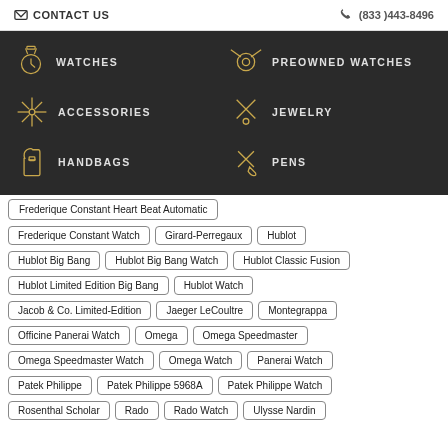CONTACT US | (833)443-8496
[Figure (screenshot): Navigation menu on dark background with six categories: WATCHES, PREOWNED WATCHES, ACCESSORIES, JEWELRY, HANDBAGS, PENS — each with a gold icon]
Frederique Constant Heart Beat Automatic
Frederique Constant Watch
Girard-Perregaux
Hublot
Hublot Big Bang
Hublot Big Bang Watch
Hublot Classic Fusion
Hublot Limited Edition Big Bang
Hublot Watch
Jacob & Co. Limited-Edition
Jaeger LeCoultre
Montegrappa
Officine Panerai Watch
Omega
Omega Speedmaster
Omega Speedmaster Watch
Omega Watch
Panerai Watch
Patek Philippe
Patek Philippe 5968A
Patek Philippe Watch